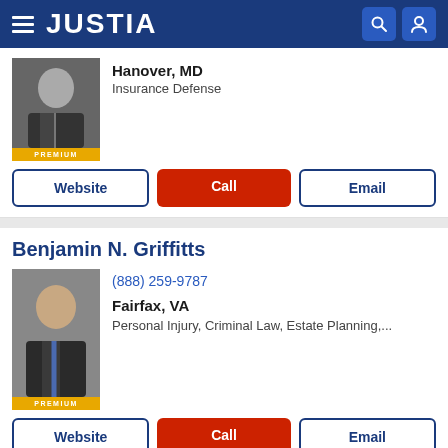JUSTIA
Hanover, MD
Insurance Defense
Website | Call | Email
Benjamin N. Griffitts
(888) 259-9787
Fairfax, VA
Personal Injury, Criminal Law, Estate Planning,...
Website | Call | Email
Nathan P. Freeburg